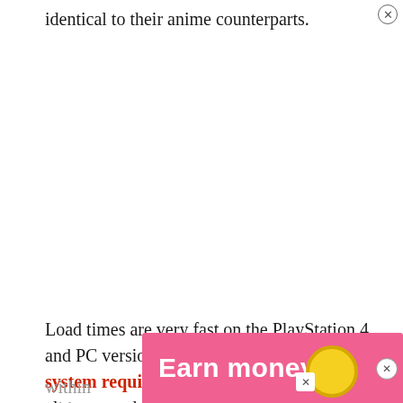identical to their anime counterparts.
[Figure (screenshot): Video advertisement for JEZU gaming, showing two young men in formal and athletic wear with text 'FROM BUSINESS TO PRO PLAY' with a play button overlay, on a dark purple background]
Load times are very fast on the PlayStation 4 and PC versions of the game, and the PC system requirements are low enough that almost any decent gaming PC built within ...game withou...times
[Figure (screenshot): Pink advertisement banner at bottom with text 'Earn money' and a gold coin icon, with close button]